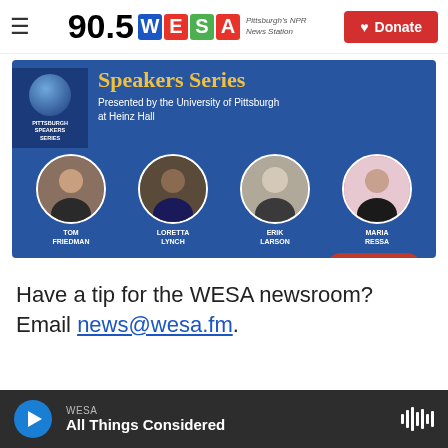90.5 WESA — Pittsburgh's NPR News Station | Donate
[Figure (infographic): Pittsburgh Speakers Series advertisement banner presented by the University of Pittsburgh at Heinz Hall, featuring speakers Tom Friedman, Loretta Lynch, Erik Larson, Maria Ressa, and more. GET INFO button visible.]
Have a tip for the WESA newsroom? Email news@wesa.fm.
WESA — All Things Considered (audio player bar)